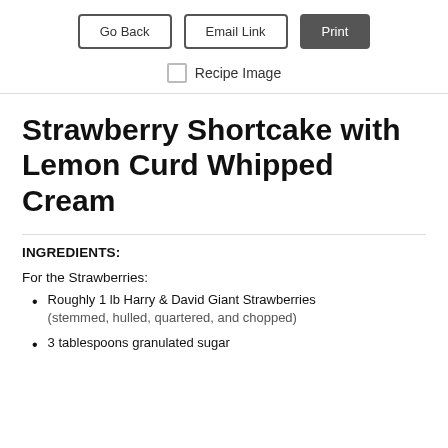[Figure (screenshot): Three buttons: Go Back (outlined), Email Link (outlined), Print (dark filled)]
Recipe Image (with checkbox)
Strawberry Shortcake with Lemon Curd Whipped Cream
INGREDIENTS:
For the Strawberries:
Roughly 1 lb Harry & David Giant Strawberries (stemmed, hulled, quartered, and chopped)
3 tablespoons granulated sugar